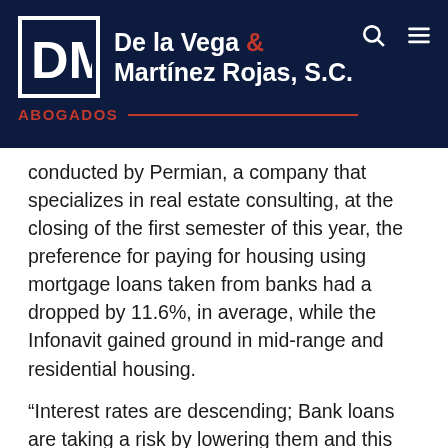De la Vega & Martínez Rojas, S.C. ABOGADOS
conducted by Permian, a company that specializes in real estate consulting, at the closing of the first semester of this year, the preference for paying for housing using mortgage loans taken from banks had a dropped by 11.6%, in average, while the Infonavit gained ground in mid-range and residential housing.
“Interest rates are descending; Bank loans are taking a risk by lowering them and this should be reflected in an increase on preference. In the Infonavit, we see that there are several credit restructures that have a positive impact for the client,” says Eduardo Aranda, director of Innovation